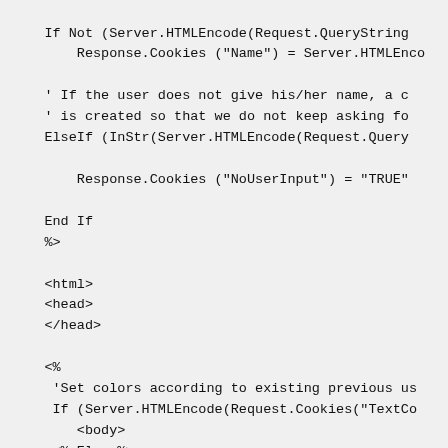If Not (Server.HTMLEncode(Request.QueryString...
    Response.Cookies ("Name") = Server.HTMLEnco...

' If the user does not give his/her name, a c...
' is created so that we do not keep asking fo...
ElseIf (InStr(Server.HTMLEncode(Request.Query...

    Response.Cookies ("NoUserInput") = "TRUE"

End If
%>

<html>
<head>
</head>

<%
 'Set colors according to existing previous us...
 If (Server.HTMLEncode(Request.Cookies("TextCo...
    <body>
 <% Else %>
    <body bgcolor=<%=Server.HTMLEncode(Request...
 <% End If
%>